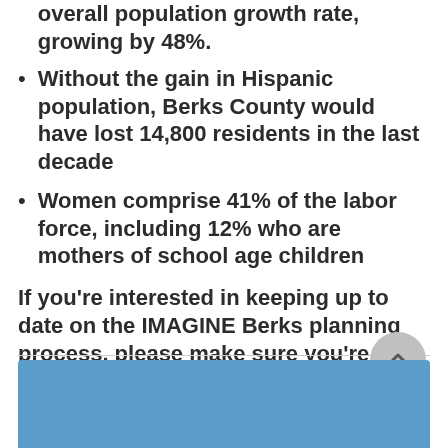overall population growth rate, growing by 48%.
Without the gain in Hispanic population, Berks County would have lost 14,800 residents in the last decade
Women comprise 41% of the labor force, including 12% who are mothers of school age children
If you’re interested in keeping up to date on the IMAGINE Berks planning process, please make sure you’re signed up to receive updates!
[Figure (other): Blue banner/bar at the bottom of the page]